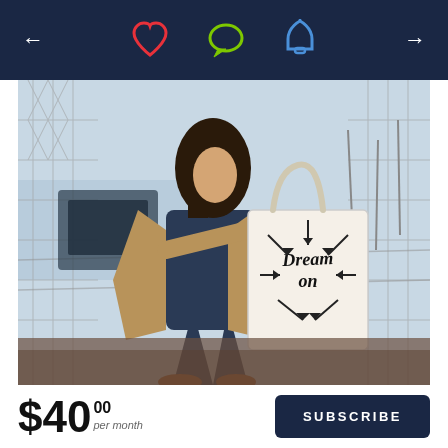Navigation bar with back arrow, heart icon, chat icon, bell icon, forward arrow
[Figure (photo): Woman walking outdoors near a chain-link fence by a marina, wearing a blue dress and tan blazer, carrying a white canvas tote bag with 'Dream On' text and arrows design.]
$40.00 per month
SUBSCRIBE